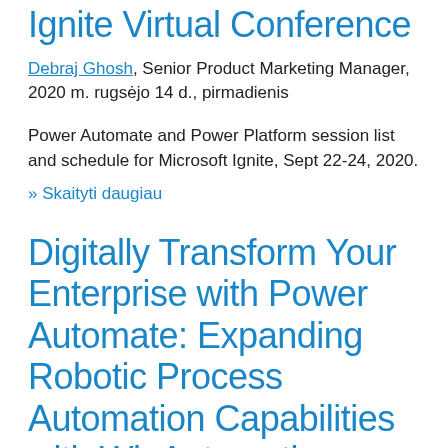Ignite Virtual Conference
Debraj Ghosh, Senior Product Marketing Manager, 2020 m. rugsėjo 14 d., pirmadienis
Power Automate and Power Platform session list and schedule for Microsoft Ignite, Sept 22-24, 2020.
» Skaityti daugiau
Digitally Transform Your Enterprise with Power Automate: Expanding Robotic Process Automation Capabilities with WinAutomation